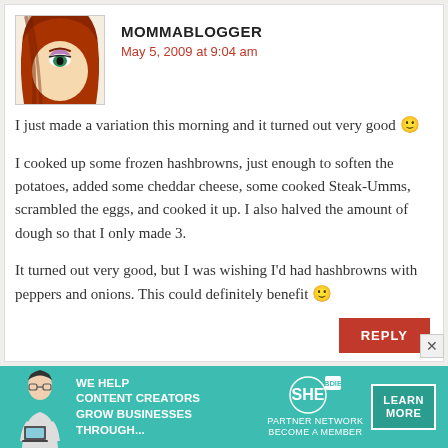[Figure (photo): Avatar image of MOMMABLOGGER showing a stylized illustration of a woman with red hair and green eyes]
MOMMABLOGGER
May 5, 2009 at 9:04 am
I just made a variation this morning and it turned out very good 🙂
I cooked up some frozen hashbrowns, just enough to soften the potatoes, added some cheddar cheese, some cooked Steak-Umms, scrambled the eggs, and cooked it up. I also halved the amount of dough so that I only made 3.
It turned out very good, but I was wishing I'd had hashbrowns with peppers and onions. This could definitely benefit 🙂
REPLY
[Figure (infographic): Advertisement banner: SHE Partner Network - We help content creators grow businesses through... Learn More - Become a Member]